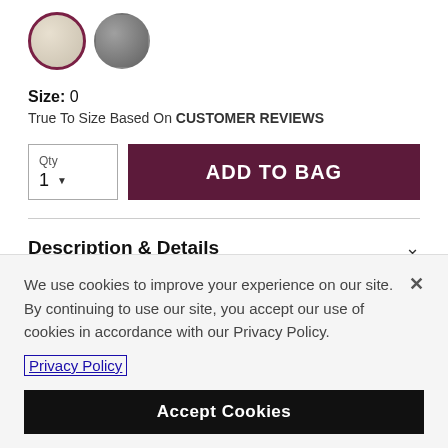[Figure (illustration): Two color swatches: a beige/cream circle with dark maroon border (selected), and a dark grey circle]
Size: 0
True To Size Based On CUSTOMER REVIEWS
Qty 1 ▼   ADD TO BAG
Description & Details
Shipping & Returns
We use cookies to improve your experience on our site. By continuing to use our site, you accept our use of cookies in accordance with our Privacy Policy.
Privacy Policy
Accept Cookies